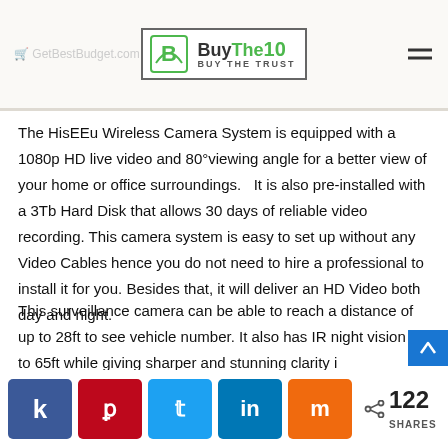BuyThe10 — Buy The Trust
The HisEEu Wireless Camera System is equipped with a 1080p HD live video and 80°viewing angle for a better view of your home or office surroundings.   It is also pre-installed with a 3Tb Hard Disk that allows 30 days of reliable video recording. This camera system is easy to set up without any Video Cables hence you do not need to hire a professional to install it for you. Besides that, it will deliver an HD Video both day and night.
This surveillance camera can be able to reach a distance of up to 28ft to see vehicle number. It also has IR night vision up to 65ft while giving sharper and stunning clarity i...
122 SHARES — social share buttons: Facebook, Pinterest, Twitter, LinkedIn, Mix